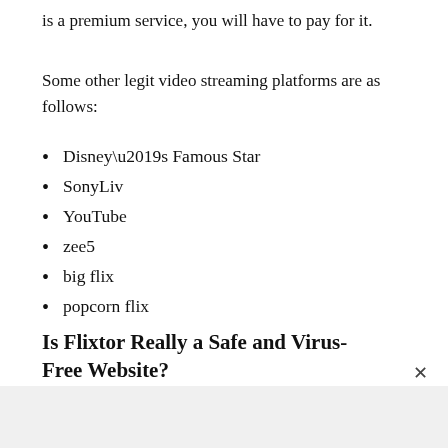is a premium service, you will have to pay for it.
Some other legit video streaming platforms are as follows:
Disney’s Famous Star
SonyLiv
YouTube
zee5
big flix
popcorn flix
Is Flixtor Really a Safe and Virus-Free Website?